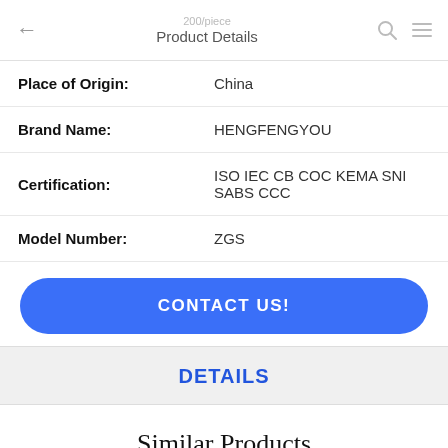← 200/piece Product Details 🔍 ≡
| Place of Origin: | China |
| Brand Name: | HENGFENGYOU |
| Certification: | ISO IEC CB COC KEMA SNI SABS CCC |
| Model Number: | ZGS |
CONTACT US!
DETAILS
Similar Products